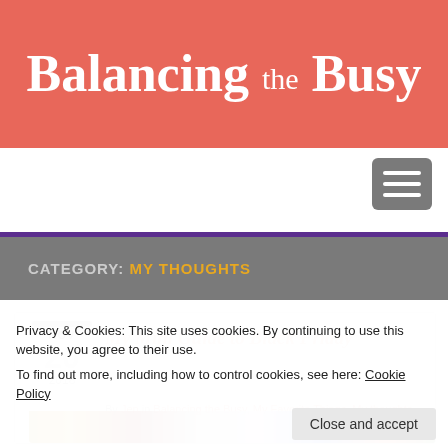Balancing the Busy
[Figure (other): Hamburger menu button (three horizontal bars) on gray background]
CATEGORY: MY THOUGHTS
Privacy & Cookies: This site uses cookies. By continuing to use this website, you agree to their use.
To find out more, including how to control cookies, see here: Cookie Policy
My Mini Guide to Black Friday
NOV 20 2018
By Jen in Balancing the Busy, My Favorite Things, My thoughts
[Figure (photo): Colorful holiday decorations image strip at the bottom of the card]